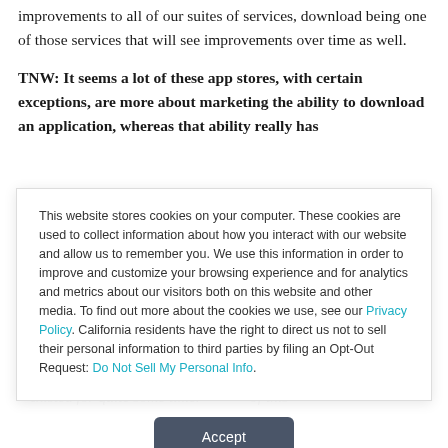improvements to all of our suites of services, download being one of those services that will see improvements over time as well.
TNW: It seems a lot of these app stores, with certain exceptions, are more about marketing the ability to download an application, whereas that ability really has
This website stores cookies on your computer. These cookies are used to collect information about how you interact with our website and allow us to remember you. We use this information in order to improve and customize your browsing experience and for analytics and metrics about our visitors both on this website and other media. To find out more about the cookies we use, see our Privacy Policy. California residents have the right to direct us not to sell their personal information to third parties by filing an Opt-Out Request: Do Not Sell My Personal Info.
Accept